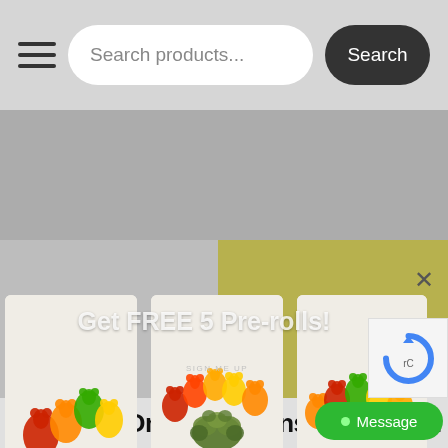Search products... Search
[Figure (screenshot): E-commerce website screenshot showing a search bar with hamburger menu icon and Search button, with a popup modal overlay displaying 'Get FREE 5 Pre-rolls!' promotional message with three cannabis product cards showing gummy bears and cannabis flower images, a yellow background accent, reCAPTCHA badge, and green Message button.]
Get FREE 5 Pre-rolls!
SIGN ME UP
Canada's Online Dispensary and C...